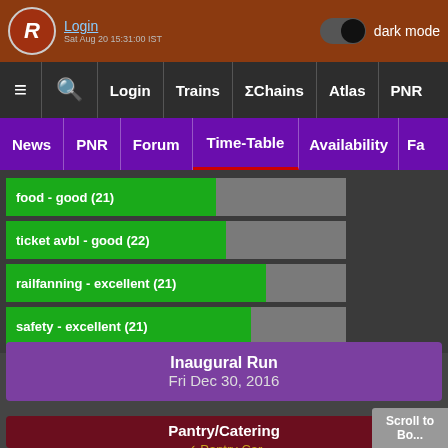[Figure (screenshot): Indian Railways fan website (RailYatri/IndianRailFans) mobile app screenshot showing navigation bars, train ratings for food, ticket availability, railfanning, and safety, Inaugural Run date, and Pantry/Catering information.]
Login | dark mode | Sat Aug 20 15:31:00 IST
≡  🔍  Login  Trains  ΣChains  Atlas  PNR
News  PNR  Forum  Time-Table  Availability  Fa...
food - good (21)
ticket avbl - good (22)
railfanning - excellent (21)
safety - excellent (21)
Inaugural Run
Fri Dec 30, 2016
Pantry/Catering
✓ Pantry Car
✓ On-board Catering
✓ E-Catering
veg- 120 chicken- 145 egg- 130 (all thali) plus evening snacks
more...